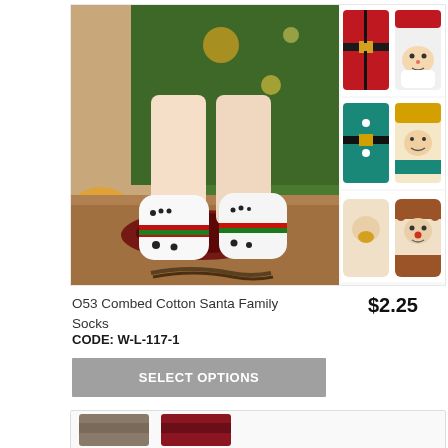[Figure (photo): Product photo of Christmas snowman ankle socks worn by a person sitting near a Christmas tree with gifts. Right side shows three thumbnail views of different Christmas character socks including Santa Claus, an elf/snowman in teal, and a reindeer/bear character.]
O53 Combed Cotton Santa Family Socks
$2.25
CODE: W-L-117-1
SELECT OPTIONS
[Figure (photo): Partial view of next product card showing two socks in gray-brown and dark red colors.]